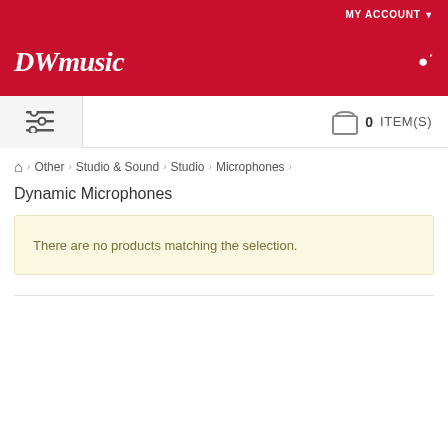MY ACCOUNT
DWmusic
0 ITEM(S)
Other > Studio & Sound > Studio > Microphones >
Dynamic Microphones
There are no products matching the selection.